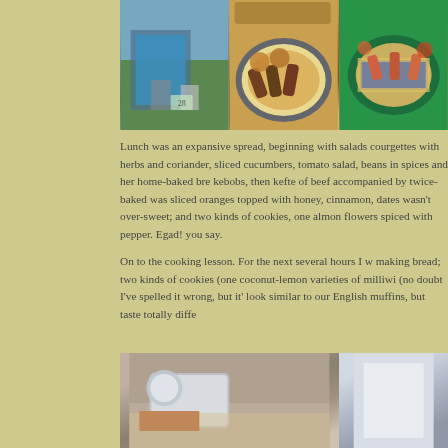[Figure (photo): Three photos arranged side by side at top: left photo shows a painted doorway/entrance with murals and plants (number 28 visible), middle photo shows a plate of Moroccan food including kebabs and fried items on a decorative plate, right photo shows more food dishes on a green tablecloth with decorative patterned plate]
Lunch was an expansive spread, beginning with salads courgettes with herbs and coriander, sliced cucumbers, tomato salad, beans in spices and her home-baked bre kebobs, then kefte of beef accompanied by twice-baked was sliced oranges topped with honey, cinnamon, dates wasn't over-sweet; and two kinds of cookies, one almon flowers spiced with pepper. Egad! you say.
On to the cooking lesson. For the next several hours I w making bread; two kinds of cookies (one coconut-lemon varieties of milliwi (no doubt I've spelled it wrong, but it's look similar to our English muffins, but taste totally diffe
[Figure (photo): Two photos at bottom: left shows hands working with metal cooking equipment/pots on a checkered cloth, right shows a light colored fabric or surface]